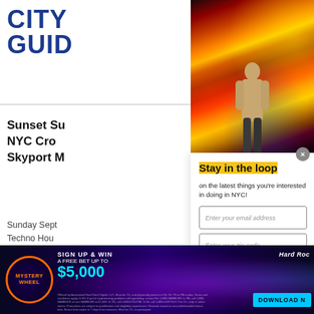[Figure (screenshot): City Guide NYC website screenshot with a modal newsletter signup overlay. Background shows partial article 'Sunset Su... NYC Cro... Skyport M...' with Sunday Sept... Techno Hou... text. A Times Square photo banner appears at top right. The modal says 'Stay in the loop on the latest things you're interested in doing in NYC!' with email and zip code input fields and a SUBSCRIBE button. An ad banner at the bottom promotes Hard Rock Sports mystery wheel with a free bet up to $5,000.]
Stay in the loop
on the latest things you're interested in doing in NYC!
Enter your email address
Enter your zip code
SUBSCRIBE
Sunset Su... NYC Cro... Skyport M...
Sunday Sept... Techno Hou...
MYSTERY WHEEL
SIGN UP & WIN A FREE BET UP TO $5,000
Hard Rock
DOWNLOAD N...